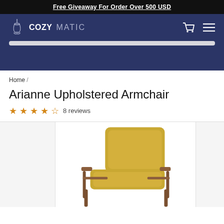Free Giveaway For Order Over 500 USD
[Figure (logo): COZYMATIC logo with pendant light icon, white text on navy background, with cart and hamburger menu icons]
Home /
Arianne Upholstered Armchair
★★★★☆ 8 reviews
[Figure (photo): Yellow/mustard upholstered mid-century modern armchair with wooden frame and armrests, partially visible product photo]